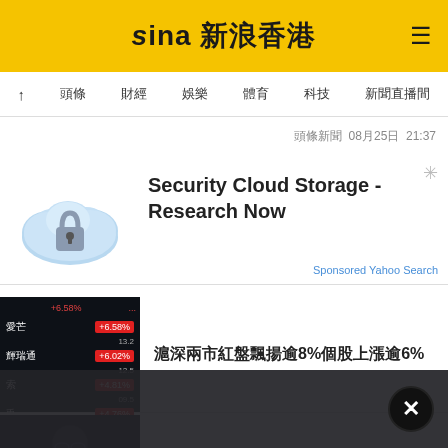Sina 新浪香港
↑ 頭條 財經 娛樂 體育 科技 新聞直播間
頭條新聞 08月25日 21:37
[Figure (illustration): Blue cloud with padlock security icon (advertisement image)]
Security Cloud Storage - Research Now
Sponsored Yahoo Search
[Figure (screenshot): Stock ticker showing: 愛芒 +6.58%, 輝瑞通 +6.02%, 索 +4.81%, 兎 +4.76%]
滬深兩市紅盤飄揚逾8%個股上漲逾6%
[Figure (photo): Dark photo of person with glasses]
周星馳與好萊塢巨頭的故事
[Figure (other): Dark overlay with close button X]